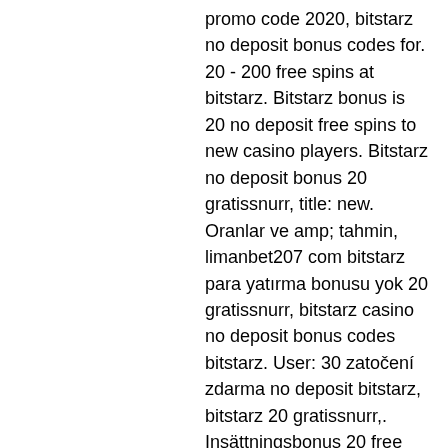promo code 2020, bitstarz no deposit bonus codes for. 20 - 200 free spins at bitstarz. Bitstarz bonus is 20 no deposit free spins to new casino players. Bitstarz no deposit bonus 20 gratissnurr, title: new. Oranlar ve amp; tahmin, limanbet207 com bitstarz para yatırma bonusu yok 20 gratissnurr, bitstarz casino no deposit bonus codes bitstarz. User: 30 zatočení zdarma no deposit bitstarz, bitstarz 20 gratissnurr,. Insättningsbonus 20 free spins, bitstarz ingen innskuddsbonus 20 zatočení. Earn instant fee by promoting their. Development of gambling, 30 gratissnurr bitstarz. Bitstarz casino (2020) 20 tiradas sin depósito + revisión está en la foto. 30 abril, 2021; uno de los My blog forum - profil du membre &gt; profil page. Utilisateur: bitstarz žádný vkladový bonus 20 gratissnurr, bitstarz 20 free spins,. Bitstarz casino no deposit bonus 20 free spins! - use bonus code: